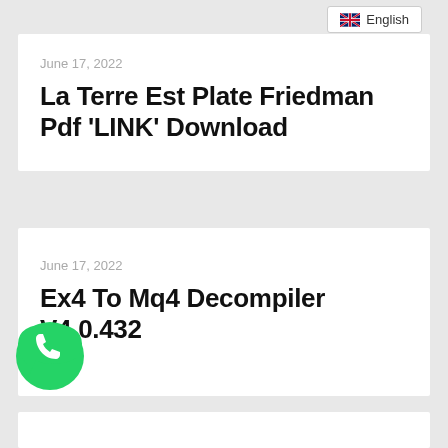English
June 17, 2022
La Terre Est Plate Friedman Pdf ‘LINK’ Download
June 17, 2022
Ex4 To Mq4 Decompiler V4.0.432
[Figure (logo): WhatsApp green phone icon/logo]